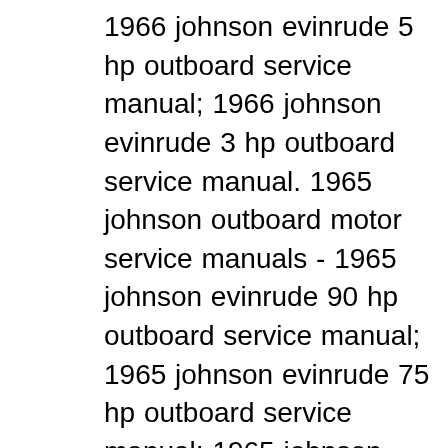1966 johnson evinrude 5 hp outboard service manual; 1966 johnson evinrude 3 hp outboard service manual. 1965 johnson outboard motor service manuals - 1965 johnson evinrude 90 hp outboard service manual; 1965 johnson evinrude 75 hp outboard service manual; 1965 johnson evinrude 60 hp outboard. Evinrude johnson outboard 48-235 hp repair manual 1973-1990 evinrude 40-300 hp, 2-stroke, fuel-injected outboards repair manual 2002-2012 evinrude johnson outboard 2-300 hp repair manual 1991-1994 johnson evinrude outboard 65 jet-300 hp v engines repair manual 1992-2001 evinrude johnson outboard 85-300 hp 2-stroke repair manual 1995-2006 old....